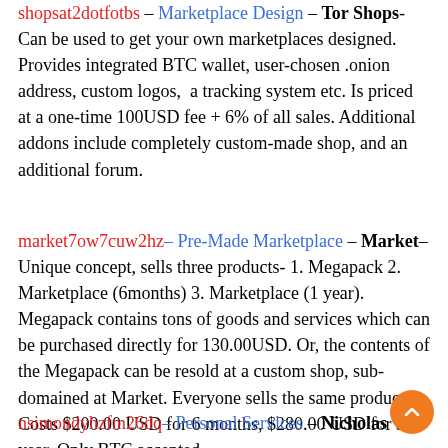shopsat2dotfotbs – Marketplace Design – Tor Shops- Can be used to get your own marketplaces designed. Provides integrated BTC wallet, user-chosen .onion address, custom logos, a tracking system etc. Is priced at a one-time 100USD fee + 6% of all sales. Additional addons include completely custom-made shop, and an additional forum.
market7ow7cuw2hz– Pre-Made Marketplace – Market– Unique concept, sells three products- 1. Megapack 2. Marketplace (6months) 3. Marketplace (1 year). Megapack contains tons of goods and services which can be purchased directly for 130.00USD. Or, the contents of the Megapack can be resold at a custom shop, sub-domained at Market. Everyone sells the same products. Costs $200.00 USD for 6 months, $280.00 USD for a year. Only BTC accepted.
nsimondyhzfm26dq– Personal Services – Nicholas